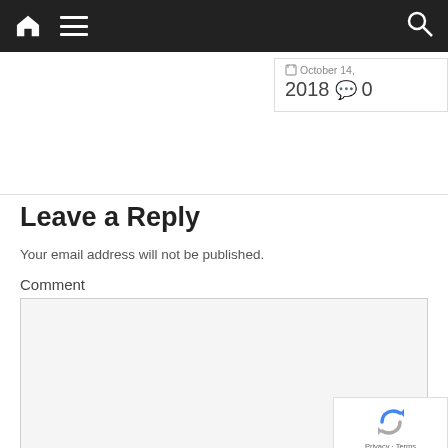[Figure (screenshot): Website navigation bar with home icon, hamburger menu icon, and search icon on dark background]
October 14, 2018  💬 0
Leave a Reply
Your email address will not be published.
Comment
[Figure (logo): reCAPTCHA badge with Privacy and Terms links]